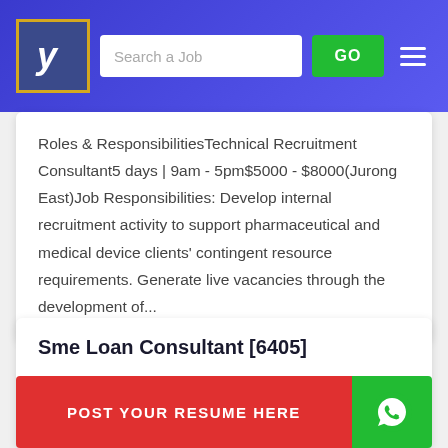Search a Job | GO
Roles & ResponsibilitiesTechnical Recruitment Consultant5 days | 9am - 5pm$5000 - $8000(Jurong East)Job Responsibilities: Develop internal recruitment activity to support pharmaceutical and medical device clients' contingent resource requirements. Generate live vacancies through the development of...
Sme Loan Consultant [6405]
The Supreme Hr Advisory Pte. Ltd.
POST YOUR RESUME HERE